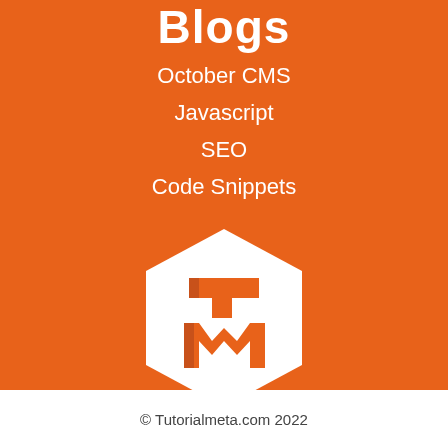Blogs
October CMS
Javascript
SEO
Code Snippets
[Figure (logo): TutorialMeta logo: white hexagon with orange TM letter mark inside]
TutorialMeta
© Tutorialmeta.com 2022